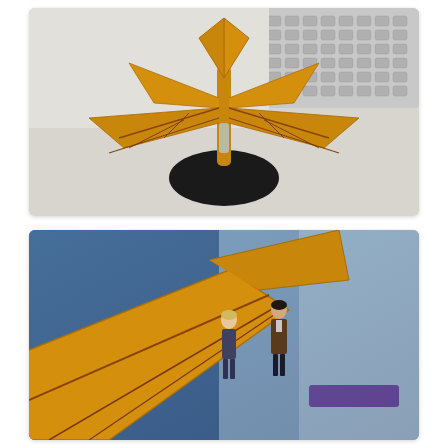[Figure (photo): Top-down view of a golden/amber colored spacecraft or flying creature model with wing-like appendages spread out, mounted on a black oval base, photographed on a white desk near a keyboard.]
[Figure (photo): Close-up angled view of the same golden/amber winged model alongside two small action figures (one blonde, one in a brown coat), with blue packaging visible in the background.]